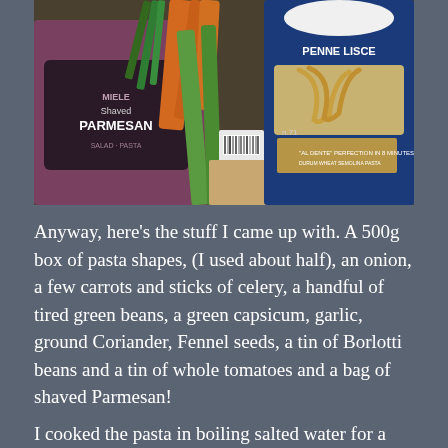[Figure (photo): Photograph of cooking ingredients on a surface: a bag of Miele Shaved Parmesan on the left, green beans, carrots, and celery stalks in the center, and a blue box of Penne Lisce pasta on the right.]
Anyway, here's the stuff I came up with. A 500g box of pasta shapes, (I used about half), an onion, a few carrots and sticks of celery, a handful of tired green beans, a green capsicum, garlic, ground Coriander, Fennel seeds, a tin of Borlotti beans and a tin of whole tomatoes and a bag of shaved Parmesan!
I cooked the pasta in boiling salted water for a